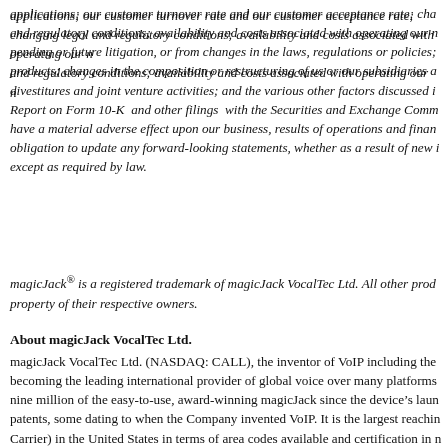applications; our customer turnover rate and our customer acceptance rate; changing legal and regulatory conditions; availability and costs associated with operating our network; pending or future litigation, or from changes in the laws, regulations or policies; competitive products; changes in the composition or restructuring of us or our subsidiaries and acquisition, divestitures and joint venture activities; and the various other factors discussed in our Annual Report on Form 10-K and other filings with the Securities and Exchange Commission that could have a material adverse effect upon our business, results of operations and financial condition. No obligation to update any forward-looking statements, whether as a result of new information, except as required by law.
magicJack® is a registered trademark of magicJack VocalTec Ltd. All other products are the property of their respective owners.
About magicJack VocalTec Ltd.
magicJack VocalTec Ltd. (NASDAQ: CALL), the inventor of VoIP including the magicJack, is becoming the leading international provider of global voice over many platforms. We have sold over nine million of the easy-to-use, award-winning magicJack since the device's launch and hold 26 patents, some dating to when the Company invented VoIP. It is the largest reaching CLEC (Carrier) in the United States in terms of area codes available and certification in most states and has historically had uptime of over 99.99 percent.